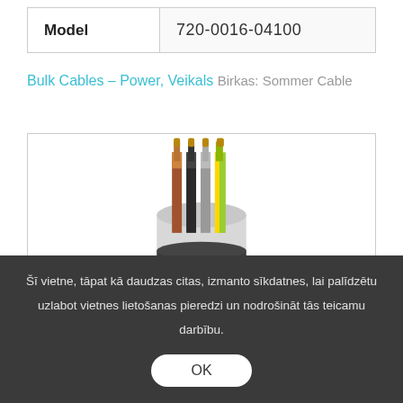| Model | 720-0016-04100 |
| --- | --- |
Bulk Cables - Power, Veikals Birkas: Sommer Cable
[Figure (photo): Cross-section photo of a 4-conductor power cable with brown, black, grey, and yellow-green insulated conductors with exposed copper ends, wrapped in a white outer jacket.]
Šī vietne, tāpat kā daudzas citas, izmanto sīkdatnes, lai palīdzētu uzlabot vietnes lietošanas pieredzi un nodrošināt tās teicamu darbību.
OK